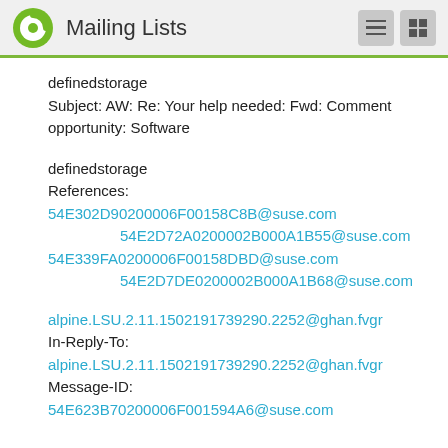Mailing Lists
definedstorage
Subject: AW: Re: Your help needed: Fwd: Comment opportunity: Software
definedstorage
References:
54E302D90200006F00158C8B@suse.com
54E2D72A0200002B000A1B55@suse.com
54E339FA0200006F00158DBD@suse.com
54E2D7DE0200002B000A1B68@suse.com
alpine.LSU.2.11.1502191739290.2252@ghan.fvgr
In-Reply-To:
alpine.LSU.2.11.1502191739290.2252@ghan.fvgr
Message-ID:
54E623B70200006F001594A6@suse.com